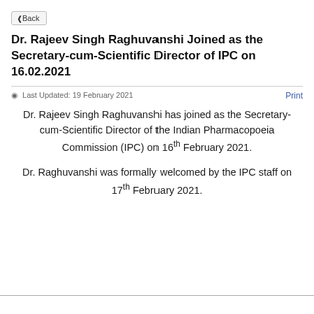Back
Dr. Rajeev Singh Raghuvanshi Joined as the Secretary-cum-Scientific Director of IPC on 16.02.2021
Last Updated: 19 February 2021
Print
Dr. Rajeev Singh Raghuvanshi has joined as the Secretary-cum-Scientific Director of the Indian Pharmacopoeia Commission (IPC) on 16th February 2021.
Dr. Raghuvanshi was formally welcomed by the IPC staff on 17th February 2021.